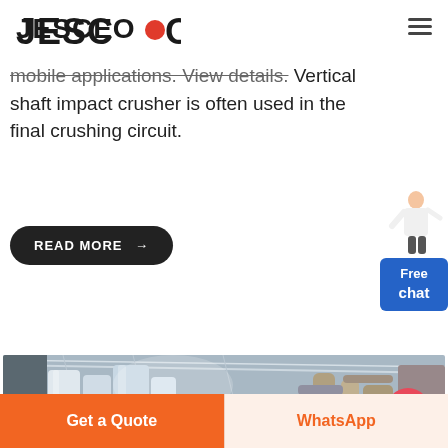JESCO
mobile applications. View details. Vertical shaft impact crusher is often used in the final crushing circuit.
READ MORE →
[Figure (photo): Industrial machinery inside a large warehouse/factory. Multiple cylindrical silos and pipe systems visible. XME logo (green recycle icon + red italic text 'XME') in the lower portion of the image.]
Get a Quote | WhatsApp